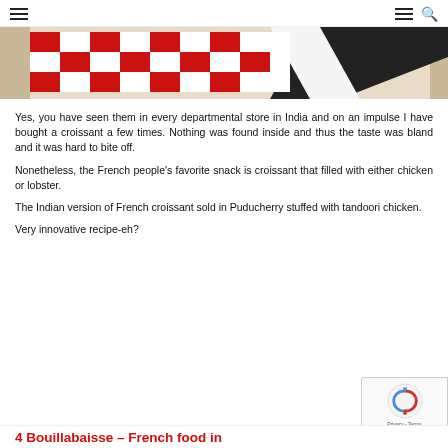Navigation header with hamburger menu and search icon
[Figure (photo): Close-up photo of a croissant or pastry with red and white checkered pattern and black stripe, on a decorative surface]
Yes, you have seen them in every departmental store in India and on an impulse I have bought a croissant a few times. Nothing was found inside and thus the taste was bland and it was hard to bite off.
Nonetheless, the French people’s favorite snack is croissant that filled with either chicken or lobster.
The Indian version of French croissant sold in Puducherry stuffed with tandoori chicken.
Very innovative recipe-eh?
4 Bouillabaisse – French food in